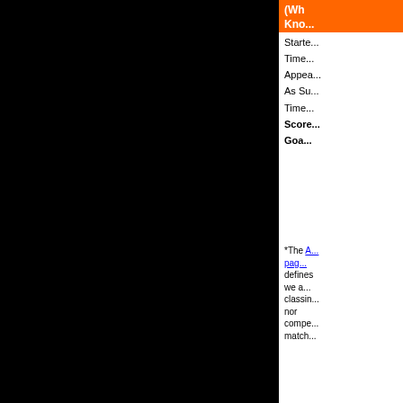(What You Need to Know...)
Started
Times...
Appearances
As Su...
Times...
Scored
Goals
*The A... page... defines... we a... classin... no... compe... match...
| Flag | Goals Scored Against | Goals Scored Against Barr... |
| --- | --- | --- |
| England | Dagenham and Redbridge | 1 |
| England | Cambridge United | 1 |
| England | York City | 1 |
| England | Dover Athletic | 1 |
| England + coat | Hayes | 1 |
| England + symbol | Northwich Victoria | 1 |